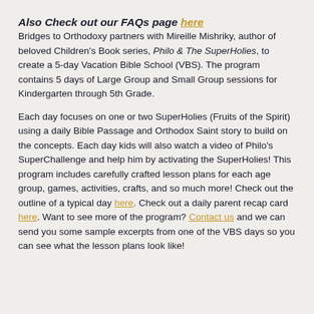Also Check out our FAQs page here
Bridges to Orthodoxy partners with Mireille Mishriky, author of beloved Children's Book series, Philo & The SuperHolies, to create a 5-day Vacation Bible School (VBS).  The program contains 5 days of Large Group and Small Group sessions for Kindergarten through 5th Grade.
Each day focuses on one or two SuperHolies (Fruits of the Spirit) using a daily Bible Passage and Orthodox Saint story to build on the concepts.  Each day kids will also watch a video of Philo's SuperChallenge and help him by activating the SuperHolies!  This program includes carefully crafted lesson plans for each age group, games, activities, crafts, and so much more!  Check out the outline of a typical day here. Check out a daily parent recap card here.  Want to see more of the program?  Contact us and we can send you some sample excerpts from one of the VBS days so you can see what the lesson plans look like!